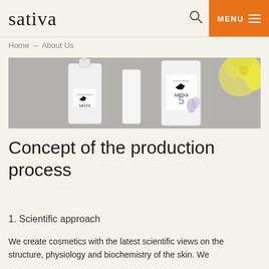sativa
Home – About Us
[Figure (photo): Sativa brand cosmetic bottles (white pump bottles with Sativa logo and bird emblem) arranged on a grey surface next to a yellow flower]
Concept of the production process
1. Scientific approach
We create cosmetics with the latest scientific views on the structure, physiology and biochemistry of the skin. We